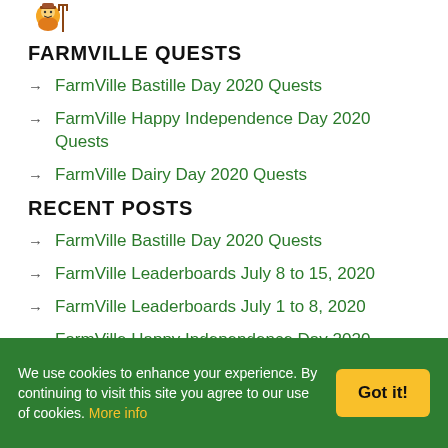[Figure (logo): FarmVille character logo icon]
FARMVILLE QUESTS
FarmVille Bastille Day 2020 Quests
FarmVille Happy Independence Day 2020 Quests
FarmVille Dairy Day 2020 Quests
RECENT POSTS
FarmVille Bastille Day 2020 Quests
FarmVille Leaderboards July 8 to 15, 2020
FarmVille Leaderboards July 1 to 8, 2020
FarmVille Happy Independence Day 2020 Quests
We use cookies to enhance your experience. By continuing to visit this site you agree to our use of cookies. More info